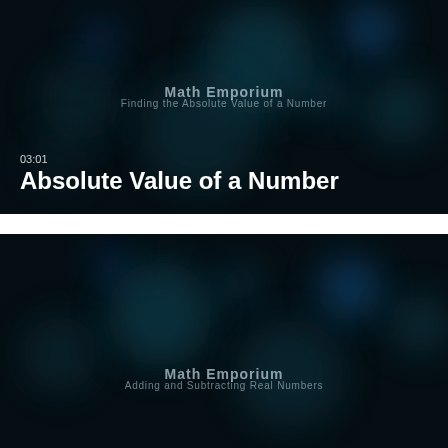[Figure (screenshot): Video thumbnail with dark teal bokeh background. Overlaid text shows 'Math Emporium' watermark and 'Finding the Absolute Value of a Number' subtitle. Lower left shows timestamp '03:01' and title 'Absolute Value of a Number' in white.]
[Figure (screenshot): Second video thumbnail with dark teal bokeh background. Overlaid text shows 'Math Emporium' watermark and 'Adding and Subtracting Real Numbers' subtitle.]